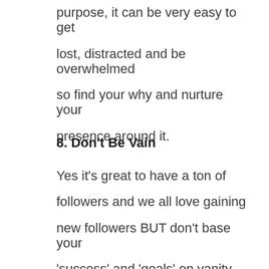purpose, it can be very easy to get lost, distracted and be overwhelmed so find your why and nurture your presence around it.
8. Don't Be Vain
Yes it's great to have a ton of followers and we all love gaining new followers BUT don't base your 'success' and 'goals' on vanity